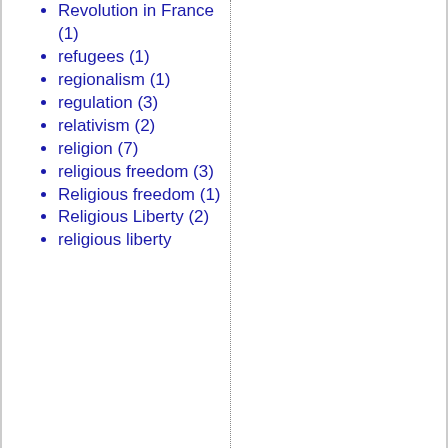Revolution in France (1)
refugees (1)
regionalism (1)
regulation (3)
relativism (2)
religion (7)
religious freedom (3)
Religious freedom (1)
Religious Liberty (2)
religious liberty